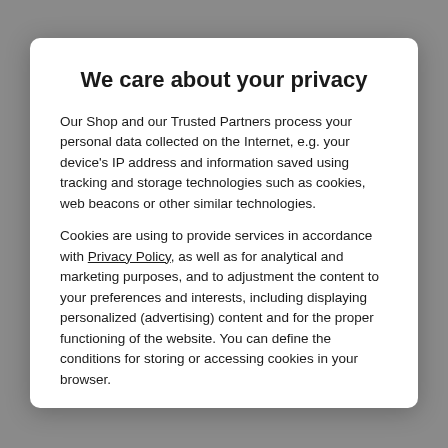We care about your privacy
Our Shop and our Trusted Partners process your personal data collected on the Internet, e.g. your device's IP address and information saved using tracking and storage technologies such as cookies, web beacons or other similar technologies.
Cookies are using to provide services in accordance with Privacy Policy, as well as for analytical and marketing purposes, and to adjustment the content to your preferences and interests, including displaying personalized (advertising) content and for the proper functioning of the website. You can define the conditions for storing or accessing cookies in your browser.
I AGREE, I WANT TO GO TO THE WEBSITE
I DO NOT AGREE